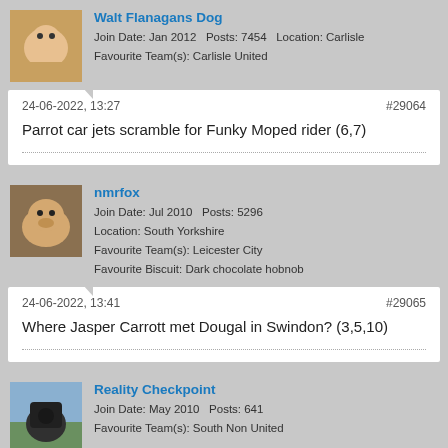Walt Flanagans Dog
Join Date: Jan 2012  Posts: 7454  Location: Carlisle
Favourite Team(s): Carlisle United
24-06-2022, 13:27
#29064
Parrot car jets scramble for Funky Moped rider (6,7)
nmrfox
Join Date: Jul 2010  Posts: 5296
Location: South Yorkshire
Favourite Team(s): Leicester City
Favourite Biscuit: Dark chocolate hobnob
24-06-2022, 13:41
#29065
Where Jasper Carrott met Dougal in Swindon? (3,5,10)
Reality Checkpoint
Join Date: May 2010  Posts: 641
Favourite Team(s): South Non United